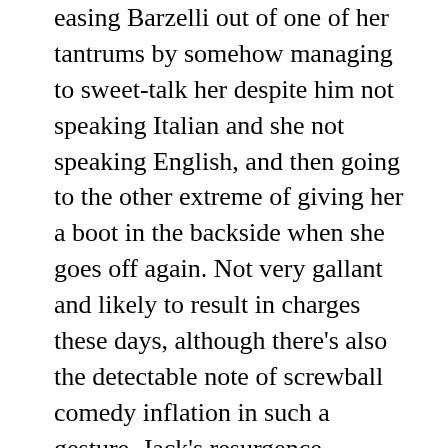easing Barzelli out of one of her tantrums by somehow managing to sweet-talk her despite him not speaking Italian and she not speaking English, and then going to the other extreme of giving her a boot in the backside when she goes off again. Not very gallant and likely to result in charges these days, although there's also the detectable note of screwball comedy inflation in such a gesture. Jack's resurgence suddenly seems foiled by the malignant streak in the Krugers, Maurice backing up Clara's attempts to crush Jack with a fake story given to entertainment journalist Brad Byrd (James Gregory), even as he silently displays his shame and regret in sacrificing his friend once